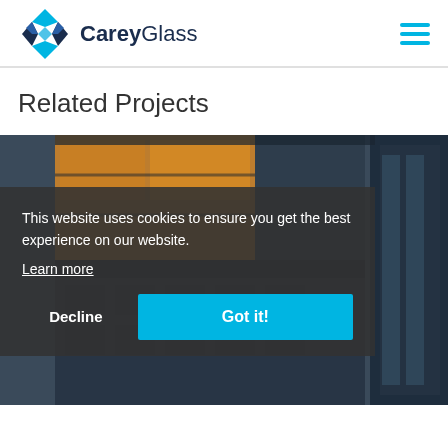CareyGlass
Related Projects
[Figure (photo): Exterior of a modern building with glass facade and golden-lit interior visible through glass panels, nighttime or dusk urban scene]
This website uses cookies to ensure you get the best experience on our website.
Learn more
Decline
Got it!